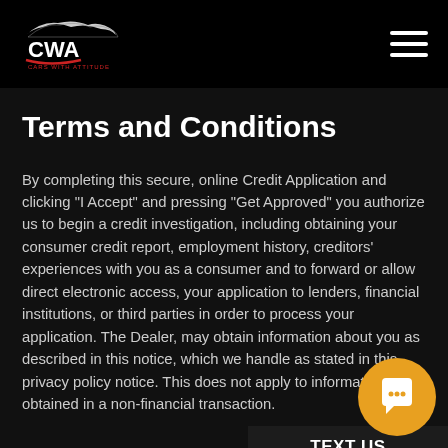CWA Cars With Attitude
Terms and Conditions
By completing this secure, online Credit Application and clicking "I Accept" and pressing "Get Approved" you authorize us to begin a credit investigation, including obtaining your consumer credit report, employment history, creditors' experiences with you as a consumer and to forward or allow direct electronic access, your application to lenders, financial institutions, or third parties in order to process your application. The Dealer, may obtain information about you as described in this notice, which we handle as stated in this privacy policy notice. This does not apply to information obtained in a non-financial transaction.